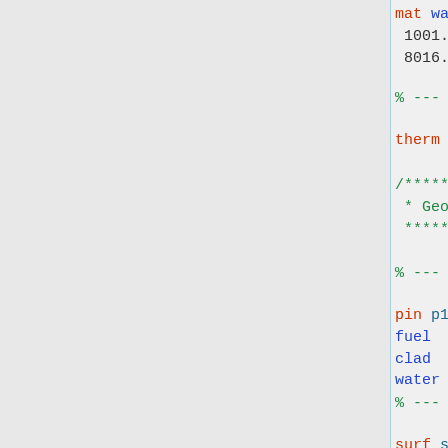mat water -1.0 moder MyThermLib
 1001.03c      2.0
 8016.03c      1.0
% --- Define thermal scattering
therm MyThermLib lwj3.00t
/**************************
 * Geometry definitions *
 **************************/
% --- Fuel pin structure
pin p1
fuel      0.4025
clad      0.4750
water
% --- Square surface with 1.5 cm
surf s1 sqc 0.0 0.0 0.75
% --- Cell c1 belongs to the base
%     and covers everything ins